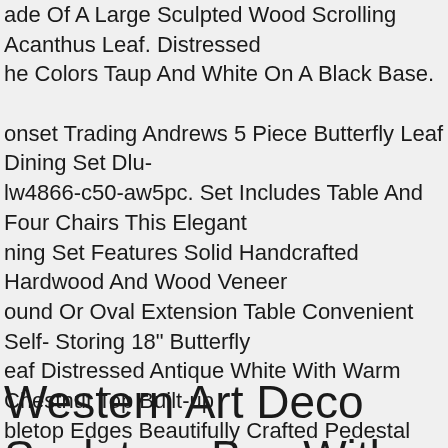ade Of A Large Sculpted Wood Scrolling Acanthus Leaf. Distressed he Colors Taup And White On A Black Base. onset Trading Andrews 5 Piece Butterfly Leaf Dining Set Dlu-lw4866-c50-aw5pc. Set Includes Table And Four Chairs This Elegant ning Set Features Solid Handcrafted Hardwood And Wood Veneer ound Or Oval Extension Table Convenient Self- Storing 18" Butterfly eaf Distressed Antique White With Warm Chestnut Top Built-up bletop Edges Beautifully Crafted Pedestal Base Easily Increase Size f Table To Accommodate Up To 6 People Free Wood Samples railable Table Dimensions With Leaf Closed 30"h X 48" Round With eaf Open 30"h X 48"d X 66"w Leg Clearance 25.5" Table Weight 145 s.featurescollection Name Andrewsminimum Dims 30"h X 48" oundseat Height 18.5seat Depth 20seat Width 20seat Back Height .5base Type Pedestalarm Height 0color Distressed Antique White ith Chestnut Brownconstruction Material Malaysian Oakassembly equired.
Western Art Deco Sculpture Boy With